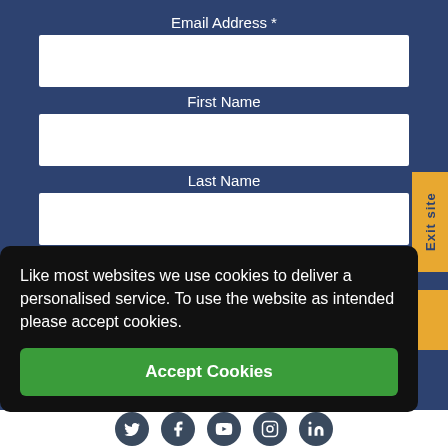Email Address *
First Name
Last Name
Exit site
Like most websites we use cookies to deliver a personalised service. To use the website as intended please accept cookies.
Accept Cookies
[Figure (other): Social media icon bar with Twitter, Facebook, YouTube, Instagram, and LinkedIn icons]